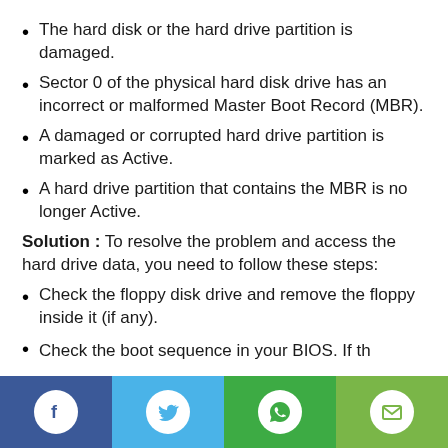The hard disk or the hard drive partition is damaged.
Sector 0 of the physical hard disk drive has an incorrect or malformed Master Boot Record (MBR).
A damaged or corrupted hard drive partition is marked as Active.
A hard drive partition that contains the MBR is no longer Active.
Solution : To resolve the problem and access the hard drive data, you need to follow these steps:
Check the floppy disk drive and remove the floppy inside it (if any).
Check the boot sequence in your BIOS. If th...